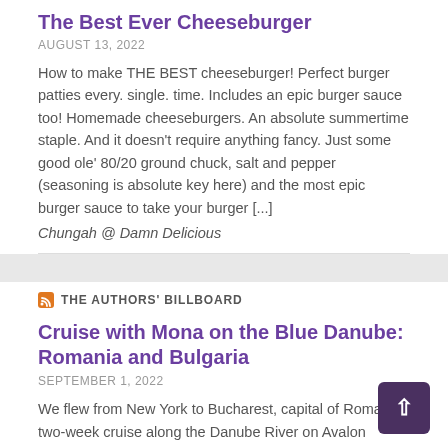The Best Ever Cheeseburger
AUGUST 13, 2022
How to make THE BEST cheeseburger! Perfect burger patties every. single. time. Includes an epic burger sauce too! Homemade cheeseburgers. An absolute summertime staple. And it doesn't require anything fancy. Just some good ole' 80/20 ground chuck, salt and pepper (seasoning is absolute key here) and the most epic burger sauce to take your burger [...]
Chungah @ Damn Delicious
THE AUTHORS' BILLBOARD
Cruise with Mona on the Blue Danube: Romania and Bulgaria
SEPTEMBER 1, 2022
We flew from New York to Bucharest, capital of Romania, two-week cruise along the Danube River on Avalon Waterways River Cruises, but first we spent two days in Bucharest. On our first evening, we walked through the wide avenues of the city